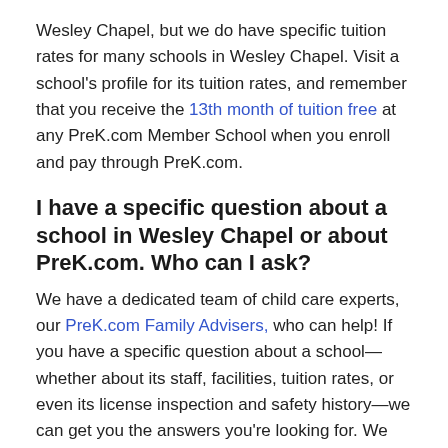Wesley Chapel, but we do have specific tuition rates for many schools in Wesley Chapel. Visit a school's profile for its tuition rates, and remember that you receive the 13th month of tuition free at any PreK.com Member School when you enroll and pay through PreK.com.
I have a specific question about a school in Wesley Chapel or about PreK.com. Who can I ask?
We have a dedicated team of child care experts, our PreK.com Family Advisers, who can help! If you have a specific question about a school—whether about its staff, facilities, tuition rates, or even its license inspection and safety history—we can get you the answers you're looking for. We can also call schools to arrange tours for you, help you fill out application and enrollment documents, and ensure you get your 13th month of tuition free at any PreK.com Member School. Email us ,